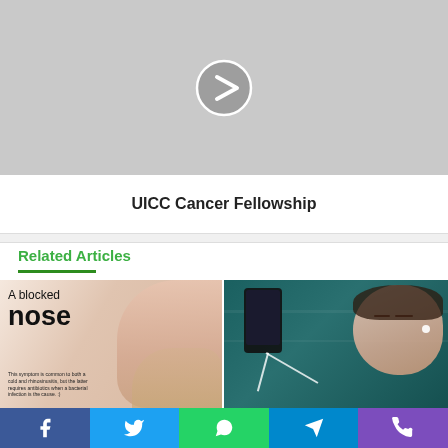[Figure (screenshot): Gray thumbnail with a circular play button (chevron right icon) for a video about UICC Cancer Fellowship]
UICC Cancer Fellowship
Related Articles
[Figure (photo): Article thumbnail showing 'A blocked nose' text overlay on photo of person blowing nose. Small body text: 'This symptom is common to both a cold and rhinosinusitis, but the latter requires antibiotics when a bacterial infection is the cause.']
[Figure (photo): Article thumbnail showing woman lying down wearing earphones with a smartphone resting on her chest, teal/dark green clothing]